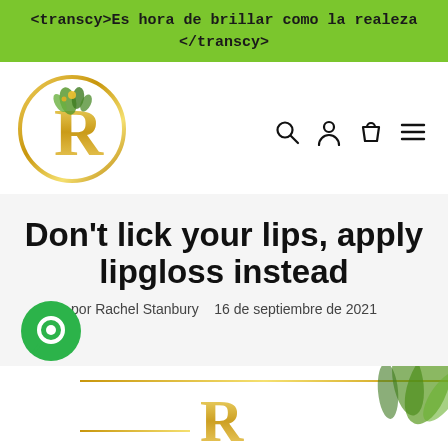<transcy>Es hora de brillar como la realeza </transcy>
[Figure (logo): Circular gold-bordered logo with decorative letter R and floral elements]
[Figure (illustration): Navigation icons: search magnifier, user profile, shopping bag, hamburger menu]
Don't lick your lips, apply lipgloss instead
por Rachel Stanbury   16 de septiembre de 2021
[Figure (illustration): Green circular chat bubble icon at bottom left]
[Figure (illustration): Bottom decorative strip showing partial brand logo and green leaf imagery]